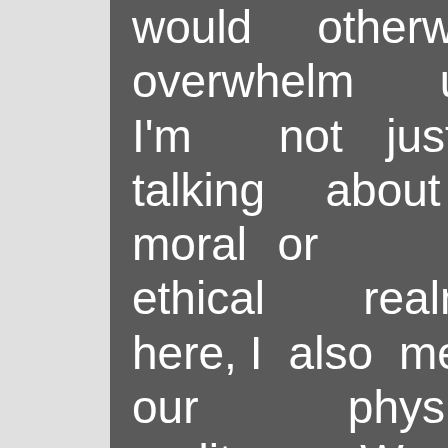would otherwise overwhelm us. I'm not just talking about moral or ethical realms here, I also mean our physical reality. We are comforted by the thought that the chair